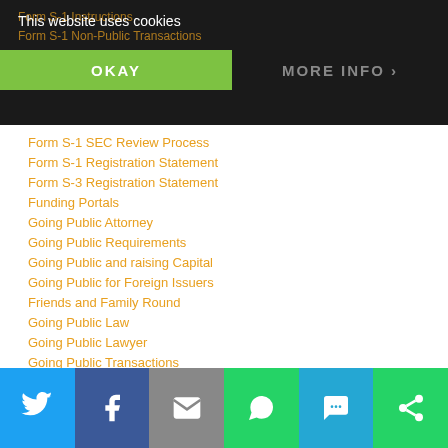This website uses cookies | OKAY | MORE INFO
Form S-1 SEC Review Process
Form S-1 Registration Statement
Form S-3 Registration Statement
Funding Portals
Going Public Attorney
Going Public Requirements
Going Public and raising Capital
Going Public for Foreign Issuers
Friends and Family Round
Going Public Law
Going Public Lawyer
Going Public Transactions
Initial Public Offerings
Intrastate Crowdfunding
Investor Relations 101
IPO Alternatives
Linkedin
Manipulative Trading
Social share bar: Twitter, Facebook, Email, WhatsApp, SMS, ShareThis